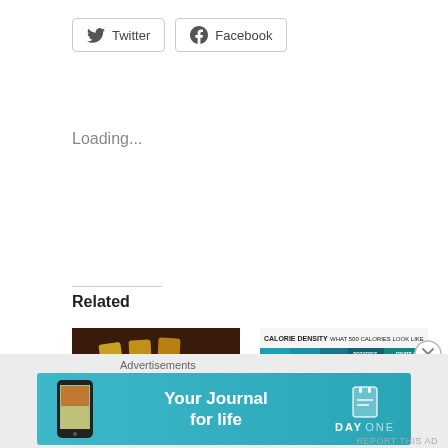[Figure (other): Twitter and Facebook share buttons]
Loading...
Related
[Figure (photo): Photo of golden/yellow tofu strips with a small bowl of dark sauce on a white plate]
The Candle 79 story and possibly the best vegan meal I have ever had.
July 17, 2018
[Figure (infographic): Calorie Density infographic showing what 500 calories look like for oil, cheese, meat, potatoes/rice/beans, and fruits/veggies]
Brunch with my tribe
October 7, 2018
In "On the road"
Advertisements
[Figure (other): Day One app advertisement banner: 'Your Journal for life' with phone image and Day One logo on teal/cyan background]